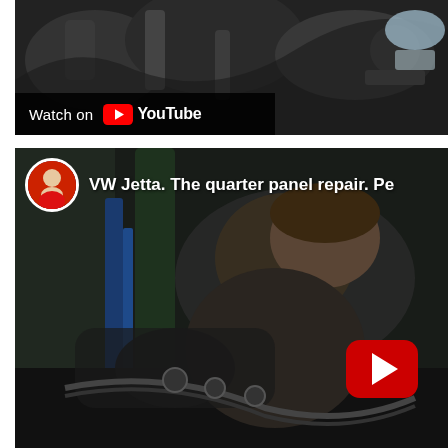[Figure (screenshot): YouTube video thumbnail showing car undercarriage/chassis parts with 'Watch on YouTube' overlay bar at the bottom left]
[Figure (screenshot): YouTube video embed showing a mechanic working on a car in a garage. Channel avatar visible top left. Video title reads 'VW Jetta. The quarter panel repair. Pe...' A red YouTube play button is visible at the bottom right.]